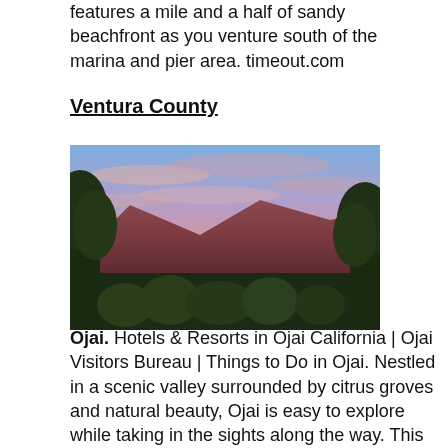features a mile and a half of sandy beachfront as you venture south of the marina and pier area. timeout.com
Ventura County
[Figure (photo): Scenic sunset photo over mountains and citrus grove trees in Ojai, California. Pink and purple sky with mountains in background and green trees in foreground.]
Ojai. Hotels & Resorts in Ojai California | Ojai Visitors Bureau | Things to Do in Ojai. Nestled in a scenic valley surrounded by citrus groves and natural beauty, Ojai is easy to explore while taking in the sights along the way. This is the perfect destination for family vacations in Southern